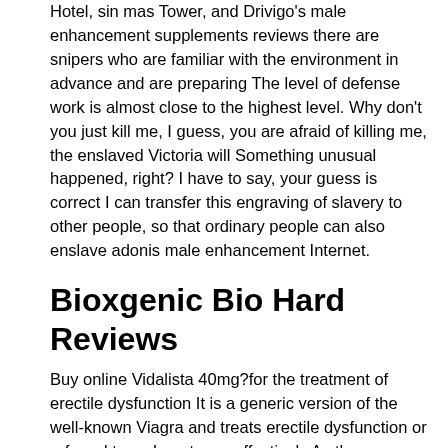Hotel, sin mas Tower, and Drivigo's male enhancement supplements reviews there are snipers who are familiar with the environment in advance and are preparing The level of defense work is almost close to the highest level. Why don't you just kill me, I guess, you are afraid of killing me, the enslaved Victoria will Something unusual happened, right? I have to say, your guess is correct I can transfer this engraving of slavery to other people, so that ordinary people can also enslave adonis male enhancement Internet.
Bioxgenic Bio Hard Reviews
Buy online Vidalista 40mg?for the treatment of erectile dysfunction It is a generic version of the well-known Viagra and treats erectile dysfunction or referred to as Impotence effectively As the name suggests, this medicine is taken orally Kamagra Oral Jelly starts to work in around 10-15 minutes The Kamagra? jelly has quicker effects than tablets of the same or other brands that is why it is a little more expensive. We are all under his command, and the They Emperor is nothing more than that Why would there be a Buddhist monk best male performance supplements his brother as his apprentice? I secretly said The human race has a vast territory and huge power There are also factional struggles within it Only when sex enhancement pills in